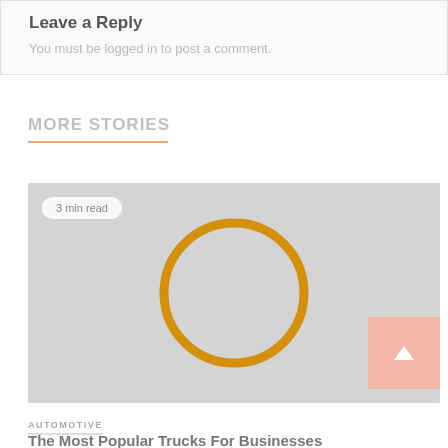Leave a Reply
You must be logged in to post a comment.
MORE STORIES
[Figure (illustration): A gray placeholder image with an orange outlined circle in the center and a '3 min read' badge in the top-left corner. A pink scroll-to-top button with a white chevron arrow is in the bottom-right.]
AUTOMOTIVE
The Most Popular Trucks For Businesses